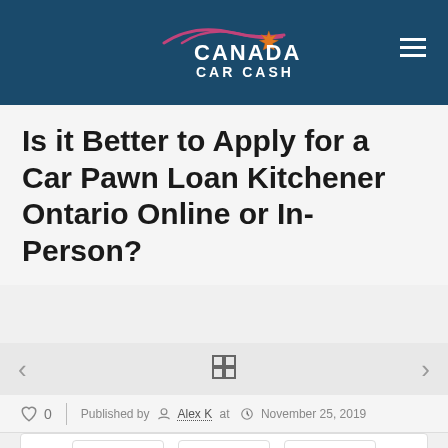Canada Car Cash
Is it Better to Apply for a Car Pawn Loan Kitchener Ontario Online or In-Person?
Published by Alex K at November 25, 2019
[Figure (infographic): Social share buttons with counts: 0 shares on Facebook, 0 tweets on Twitter, 0 pins on Pinterest]